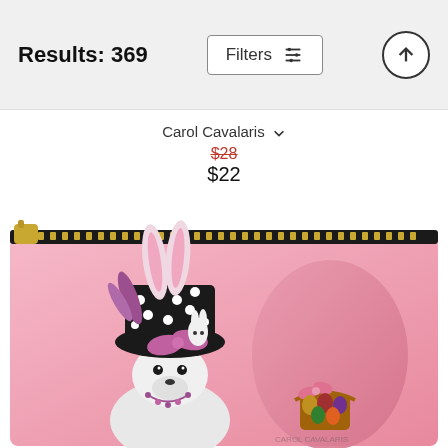Results: 369
Filters
Carol Cavalaris
$28 (original price, crossed out) $22 (sale price)
[Figure (photo): A decorative cosmetic pouch with a pink background featuring an illustration of a whimsical dog dressed in an elaborate black and white polka-dot hat with bunny ears, feathers, and rhinestone accessories. A large pink Easter egg and a wicker Easter basket with colored eggs are in the background. Gold zipper at the top.]